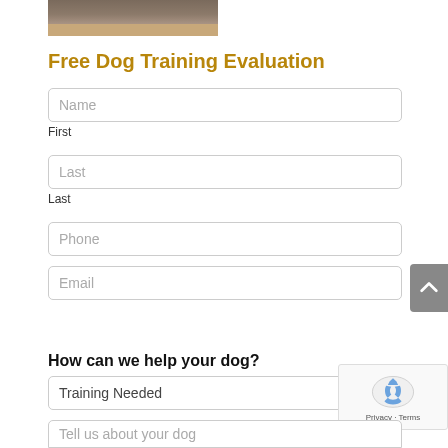[Figure (photo): Partial photo of a person working with wood, cropped at top]
Free Dog Training Evaluation
Name
First
Last
Last
Phone
Email
How can we help your dog?
Training Needed
Tell us about your dog